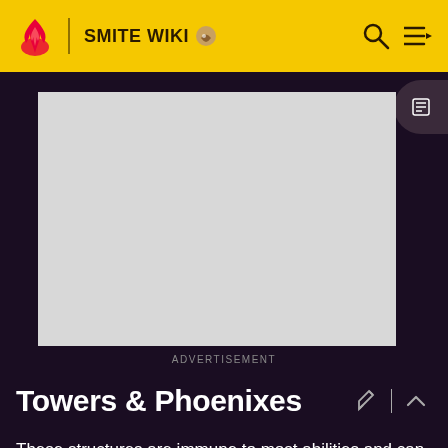SMITE WIKI
[Figure (screenshot): Advertisement placeholder — large grey rectangle]
ADVERTISEMENT
Towers & Phoenixes
These structures are immune to most abilities and can